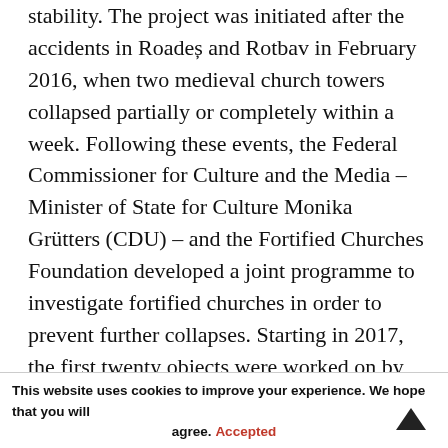stability. The project was initiated after the accidents in Roadeș and Rotbav in February 2016, when two medieval church towers collapsed partially or completely within a week. Following these events, the Federal Commissioner for Culture and the Media – Minister of State for Culture Monika Grütters (CDU) – and the Fortified Churches Foundation developed a joint programme to investigate fortified churches in order to prevent further collapses. Starting in 2017, the first twenty objects were worked on by structural engineers, engineers, geologists and other experts from Romania and Germany. The results of their analyses and assessments were used to produce expert reports that not only describe the damage found, but also provide starting points for possible stabilization measures and repairs.
This website uses cookies to improve your experience. We hope that you will agree. Accepted